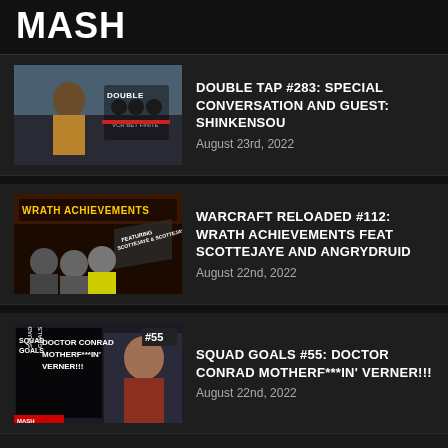MASH
[Figure (photo): Double Tap podcast thumbnail with person and Double Tap logo]
DOUBLE TAP #283: SPECIAL CONVERSATION AND GUEST: SHINKENSOU
August 23rd, 2022
[Figure (photo): Warcraft Reloaded thumbnail showing Wrath Achievements with ScotteJaye and AngryDruid]
WARCRAFT RELOADED #112: WRATH ACHIEVEMENTS FEAT SCOTTEJAYE AND ANGRYDRUID
August 22nd, 2022
[Figure (photo): Squad Goals #55 thumbnail showing Doctor Conrad Motherf***in' Verner]
SQUAD GOALS #55: DOCTOR CONRAD MOTHERF***IN' VERNER!!!
August 22nd, 2022